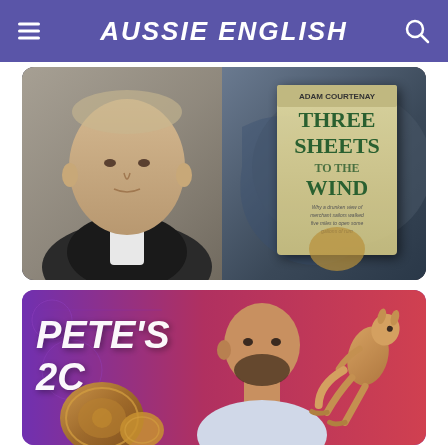AUSSIE ENGLISH
[Figure (photo): Top image showing a middle-aged man in a suit on the left side against a grey-blue background, and on the right side a book cover titled 'Three Sheets to the Wind' by Adam Courtenay against a nautical-themed background]
[Figure (photo): Bottom image showing a purple-to-pink gradient background with the text PETE'S 2C on the left, a bald man in the center, a large coin on the bottom left, and a kangaroo on the right side]